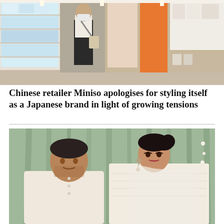[Figure (photo): Interior of a Miniso retail store with shelves stocked with products. A person wearing a mask and carrying a bag walks through the aisle. Colorful packaged items line both sides.]
Chinese retailer Miniso apologises for styling itself as a Japanese brand in light of growing tensions
[Figure (photo): A man and woman dressed in cream/white traditional Indian attire sitting together against a green curtain backdrop with floral decorations.]